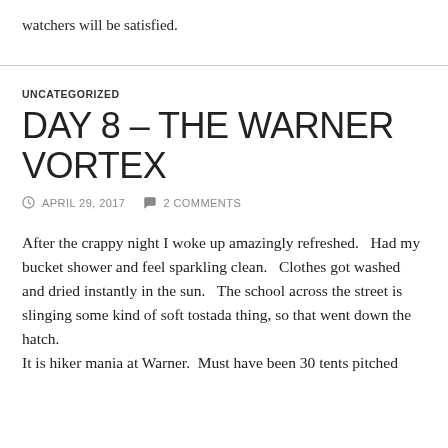watchers will be satisfied.
UNCATEGORIZED
DAY 8 – THE WARNER VORTEX
APRIL 29, 2017   2 COMMENTS
After the crappy night I woke up amazingly refreshed.   Had my bucket shower and feel sparkling clean.   Clothes got washed and dried instantly in the sun.   The school across the street is slinging some kind of soft tostada thing, so that went down the hatch.
It is hiker mania at Warner.  Must have been 30 tents pitched